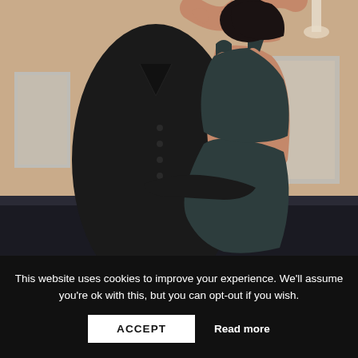[Figure (illustration): A painting of a couple dancing closely together. A man in a dark black coat and a woman in a backless dark teal/charcoal dress embracing and dancing. Warm beige/tan wall background with what appears to be a framed picture on the right side and a lamp partially visible at top right.]
This website uses cookies to improve your experience. We'll assume you're ok with this, but you can opt-out if you wish.
ACCEPT
Read more